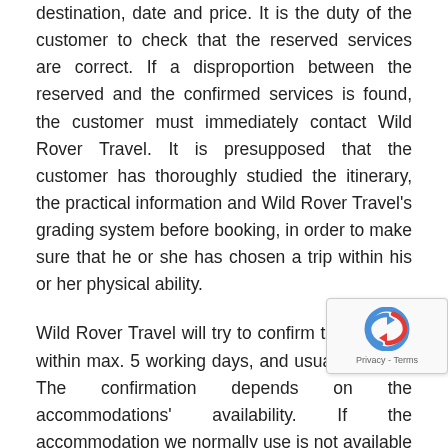destination, date and price. It is the duty of the customer to check that the reserved services are correct. If a disproportion between the reserved and the confirmed services is found, the customer must immediately contact Wild Rover Travel. It is presupposed that the customer has thoroughly studied the itinerary, the practical information and Wild Rover Travel's grading system before booking, in order to make sure that he or she has chosen a trip within his or her physical ability.
Wild Rover Travel will try to confirm the booking within max. 5 working days, and usually sooner. The confirmation depends on the accommodations' availability. If the accommodation we normally use is not available we will try to offer alternative accommodation, which may entail an extra expense or discount depending on the price of the alternative accommodation (we might also suggest [changes to the itinerary or starting date). If the customer cannot accept the price or date changes the booking can be cancelled free